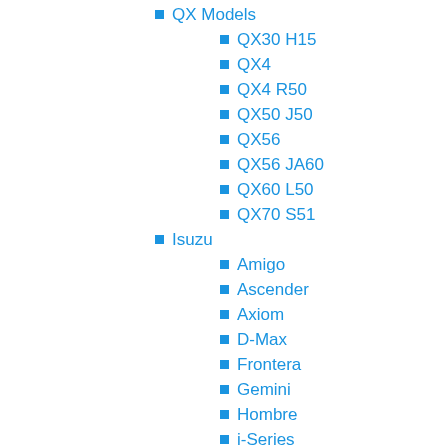QX Models
QX30 H15
QX4
QX4 R50
QX50 J50
QX56
QX56 JA60
QX60 L50
QX70 S51
Isuzu
Amigo
Ascender
Axiom
D-Max
Frontera
Gemini
Hombre
i-Series
I-280